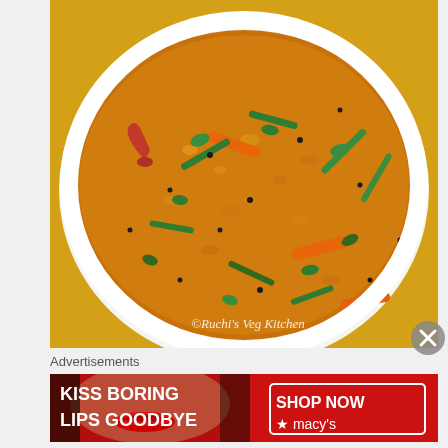[Figure (photo): A white plate of Indian-style vegetable khichdi or pongal dish — a golden-orange mixture of rice and lentils topped with carrots, green beans, mustard seeds, dried red chili, and fresh cilantro. Watermark text reads '© Ruchi's Veg Kitchen'.]
Advertisements
[Figure (photo): A red advertisement banner for Macy's cosmetics showing a close-up of a woman's face with bold red lips. Text reads 'KISS BORING LIPS GOODBYE' on the left and 'SHOP NOW ★ macy's' on the right with a red button outline.]